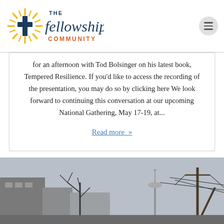[Figure (logo): The Fellowship Community logo with sun/cross emblem and stylized text]
for an afternoon with Tod Bolsinger on his latest book, Tempered Resilience. If you'd like to access the recording of the presentation, you may do so by clicking here We look forward to continuing this conversation at our upcoming National Gathering, May 17-19, at...
Read more »
[Figure (photo): Street scene with bare winter trees, buildings, utility poles with wires, and the Seattle Space Needle visible in the background under an overcast sky]